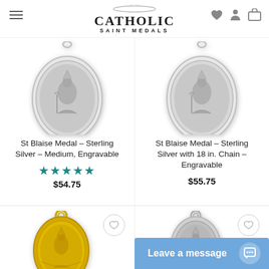Catholic Saint Medals
[Figure (photo): St Blaise Medal - Sterling Silver - Medium, Engravable product image (silver oval medal)]
St Blaise Medal – Sterling Silver – Medium, Engravable
★★★★★ $54.75
[Figure (photo): St Blaise Medal - Sterling Silver with 18 in. Chain - Engravable product image (silver oval medal)]
St Blaise Medal – Sterling Silver with 18 in. Chain – Engravable
$55.75
[Figure (photo): St Blaise Gold-tone Medal product image (gold oval medal)]
[Figure (photo): St Blaise Sterling Silver small Medal product image (silver oval medal)]
Leave a message